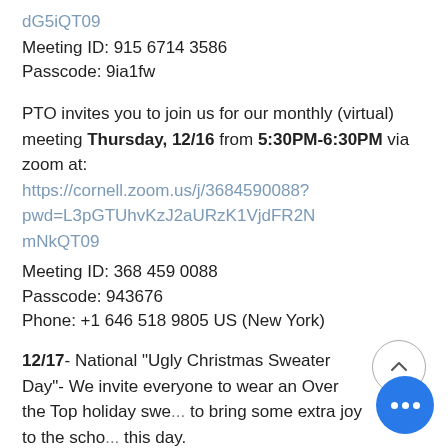dG5iQT09
Meeting ID: 915 6714 3586
Passcode: 9ia1fw
PTO invites you to join us for our monthly (virtual) meeting Thursday, 12/16 from 5:30PM-6:30PM via zoom at: https://cornell.zoom.us/j/3684590088?pwd=L3pGTUhvKzJ2aURzK1VjdFR2NmNkQT09
Meeting ID: 368 459 0088
Passcode: 943676
Phone: +1 646 518 9805 US (New York)
12/17- National "Ugly Christmas Sweater Day"- We invite everyone to wear an Over the Top holiday swe... to bring some extra joy to the scho... this day.